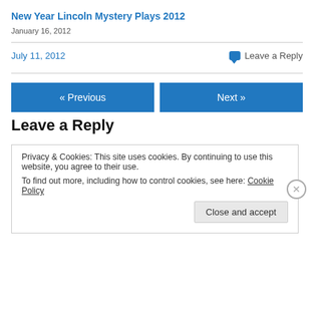New Year Lincoln Mystery Plays 2012
January 16, 2012
July 11, 2012
Leave a Reply
« Previous
Next »
Leave a Reply
Privacy & Cookies: This site uses cookies. By continuing to use this website, you agree to their use.
To find out more, including how to control cookies, see here: Cookie Policy
Close and accept